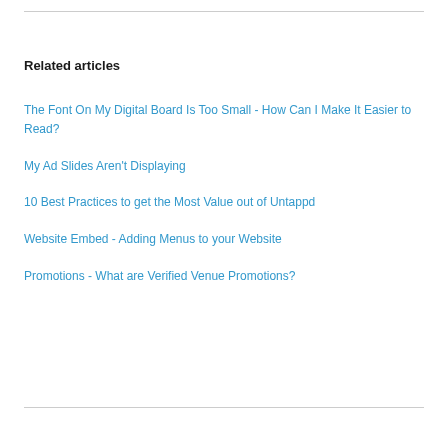Related articles
The Font On My Digital Board Is Too Small - How Can I Make It Easier to Read?
My Ad Slides Aren't Displaying
10 Best Practices to get the Most Value out of Untappd
Website Embed - Adding Menus to your Website
Promotions - What are Verified Venue Promotions?